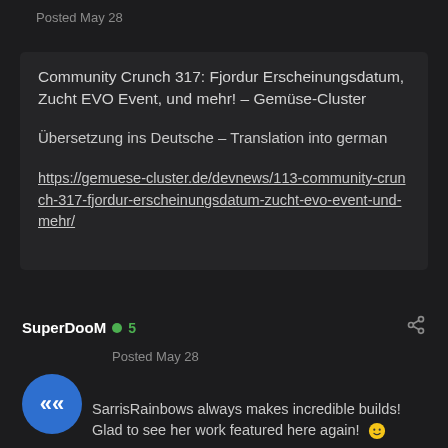Posted May 28
Community Crunch 317: Fjordur Erscheinungsdatum, Zucht EVO Event, und mehr! – Gemüse-Cluster
Übersetzung ins Deutsche – Translation into german
https://gemuese-cluster.de/devnews/113-community-crunch-317-fjordur-erscheinungsdatum-zucht-evo-event-und-mehr/
SuperDooM 5 Posted May 28
SarrisRainbows always makes incredible builds! Glad to see her work featured here again!